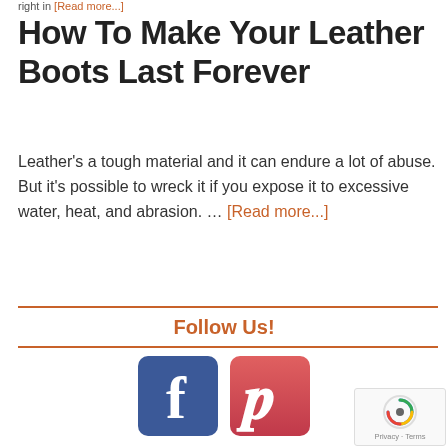right in [Read more...]
How To Make Your Leather Boots Last Forever
Leather's a tough material and it can endure a lot of abuse. But it's possible to wreck it if you expose it to excessive water, heat, and abrasion. … [Read more...]
Follow Us!
[Figure (logo): Facebook and Pinterest social media icons]
[Figure (logo): reCAPTCHA privacy badge]